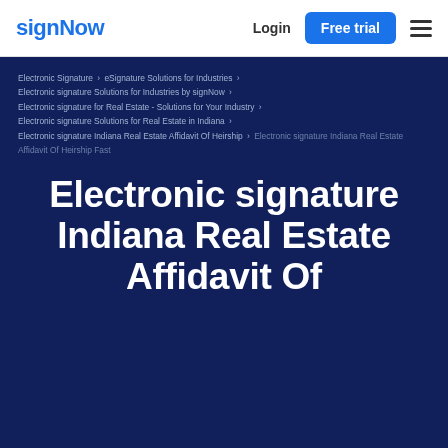signNow | Login | Free trial
Electronic Signature › eSignature Solutions for Industries › Electronic signature Solutions for Industries by signNow › Electronic signature for Real Estate - Solutions for Your Industry › Electronic signature Solutions for Real Estate in Indiana › Electronic signature Indiana Real Estate Affidavit Of Heirship › Electronic signature Indiana Real Estate Affidavit Of Heirship Fast
Electronic signature Indiana Real Estate Affidavit Of